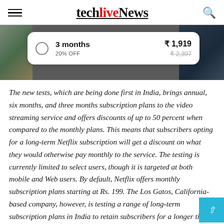techlivenews
[Figure (screenshot): Netflix subscription plan UI showing 3 months plan at ₹1,919 with 20% OFF, original price ₹2,397 crossed out]
The new tests, which are being done first in India, brings annual, six months, and three months subscription plans to the video streaming service and offers discounts of up to 50 percent when compared to the monthly plans. This means that subscribers opting for a long-term Netflix subscription will get a discount on what they would otherwise pay monthly to the service. The testing is currently limited to select users, though it is targeted at both mobile and Web users. By default, Netflix offers monthly subscription plans starting at Rs. 199. The Los Gatos, California-based company, however, is testing a range of long-term subscription plans in India to retain subscribers for a longer time.